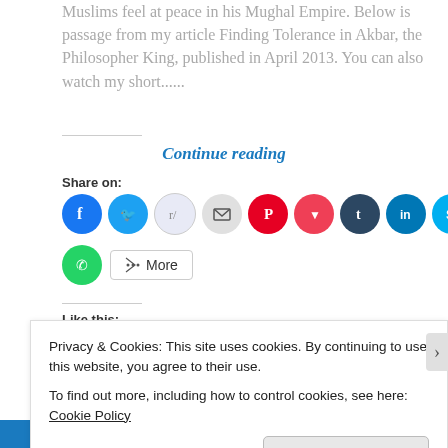Muslims feel at peace in his Mughal Empire. Below is passage from my article Finding Tolerance in Akbar, the Philosopher King, published in April 2013. You can also watch my short......
Continue reading
Share on:
[Figure (other): Social media share icons: Facebook, Twitter, Reddit, Email, Pinterest, Pocket, Tumblr, LinkedIn, Skype, Telegram]
[Figure (other): WhatsApp share icon and More button]
Like this:
Loading
Privacy & Cookies: This site uses cookies. By continuing to use this website, you agree to their use.
To find out more, including how to control cookies, see here: Cookie Policy
Close and accept